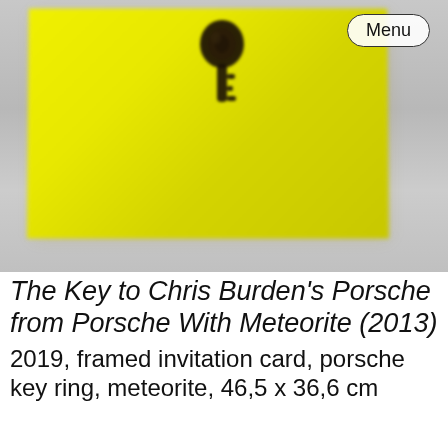[Figure (photo): A photograph showing a yellow card/invitation mounted on a light gray wall, with a dark Porsche key ring (meteorite) placed on top of the yellow card. A 'Menu' button appears in the upper right corner of the image.]
The Key to Chris Burden's Porsche from Porsche With Meteorite (2013)
2019, framed invitation card, porsche key ring, meteorite, 46,5 x 36,6 cm